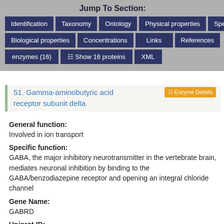Jump To Section:
Identification | Taxonomy | Ontology | Physical properties | Spectra
Biological properties | Concentrations | Links | References
enzymes (16) | Show 16 proteins | XML
51. Gamma-aminobutyric acid receptor subunit delta
Enzyme Details
General function:
Involved in ion transport
Specific function:
GABA, the major inhibitory neurotransmitter in the vertebrate brain, mediates neuronal inhibition by binding to the GABA/benzodiazepine receptor and opening an integral chloride channel
Gene Name:
GABRD
Uniprot ID:
O14764
Molecular weight:
50707.8